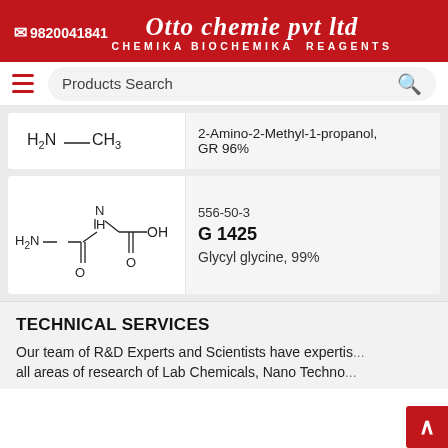Otto chemie pvt ltd — CHEMIKA BIOCHEMIKA REAGENTS — ☎ 9820041841
Products Search
[Figure (chemical-structure): Partial chemical structure showing H2N and CH3 groups, cut off at top]
2-Amino-2-Methyl-1-propanol, GR 96%
[Figure (chemical-structure): Chemical structure of Glycyl glycine: H2N-CH2-C(=O)-NH-CH2-COOH]
556-50-3
G 1425
Glycyl glycine, 99%
TECHNICAL SERVICES
Our team of R&D Experts and Scientists have expertise in all areas of research of Lab Chemicals, Nano Techno...